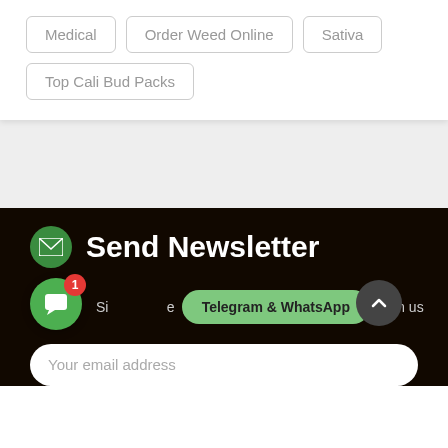Medical
Order Weed Online
Sativa
Top Cali Bud Packs
Send Newsletter
Sign up to get newsletters from us
Telegram & WhatsApp
Your email address